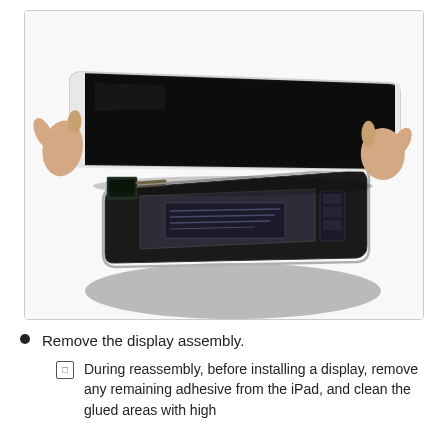[Figure (photo): Hands lifting or removing the display assembly from an iPad, showing the internal components including battery, logic board connectors, and frame. The display is being held at an angle revealing the interior of the device.]
Remove the display assembly.
During reassembly, before installing a display, remove any remaining adhesive from the iPad, and clean the glued areas with high